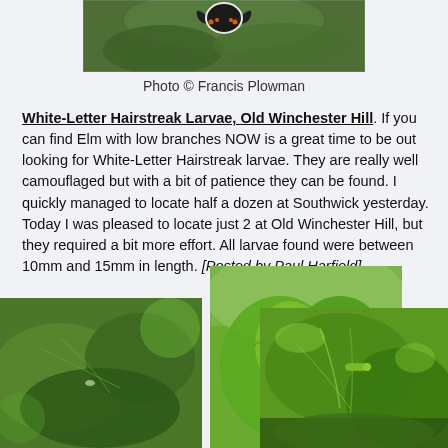[Figure (photo): Top portion of a butterfly photo on elm leaves, showing dark butterfly with white border on green foliage]
Photo © Francis Plowman
White-Letter Hairstreak Larvae, Old Winchester Hill. If you can find Elm with low branches NOW is a great time to be out looking for White-Letter Hairstreak larvae. They are really well camouflaged but with a bit of patience they can be found. I quickly managed to locate half a dozen at Southwick yesterday. Today I was pleased to locate just 2 at Old Winchester Hill, but they required a bit more effort. All larvae found were between 10mm and 15mm in length. [Posted by Paul Harfield]
[Figure (photo): Left photo: close-up of elm leaves with small larva visible]
[Figure (photo): Center photo: bright green elm leaf cluster on branch showing caterpillar camouflage]
[Figure (photo): Right photo: elm leaves with hairstreak larva visible on underside]